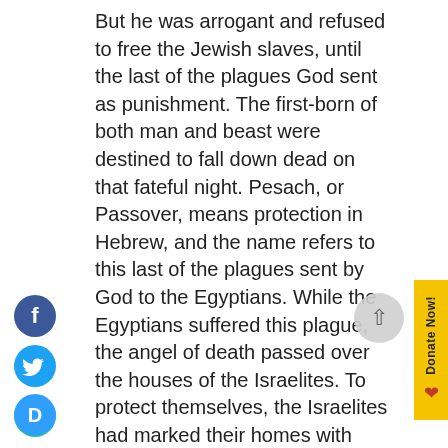But he was arrogant and refused to free the Jewish slaves, until the last of the plagues God sent as punishment. The first-born of both man and beast were destined to fall down dead on that fateful night. Pesach, or Passover, means protection in Hebrew, and the name refers to this last of the plagues sent by God to the Egyptians. While the Egyptians suffered this plague, the angel of death passed over the houses of the Israelites. To protect themselves, the Israelites had marked their homes with lamb's blood so that the angel of death could easily "pass over" their homes.